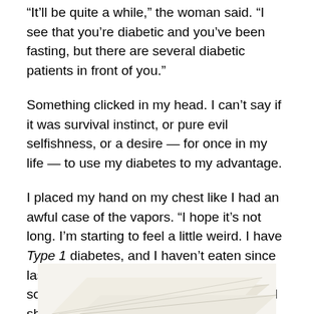“It’ll be quite a while,” the woman said. “I see that you’re diabetic and you’ve been fasting, but there are several diabetic patients in front of you.”
Something clicked in my head. I can’t say if it was survival instinct, or pure evil selfishness, or a desire — for once in my life — to use my diabetes to my advantage.
I placed my hand on my chest like I had an awful case of the vapors. “I hope it’s not long. I’m starting to feel a little weird. I have Type 1 diabetes, and I haven’t eaten since last night. I think I’m going to need to have something soon.” (Later, the lab test would show that my blood sugar was 138.)
[Figure (photo): Bottom of a stack of papers or documents, angled, cream/white colored, partially visible at the bottom of the page]